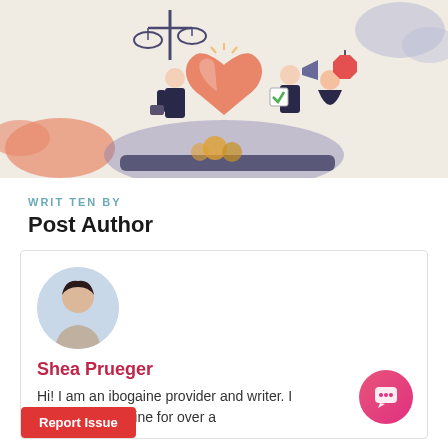[Figure (illustration): Colorful flat-style illustration showing figures around a large heart with scales of justice, a megaphone, and coins on a beige/tan background with cloud shapes]
WRITTEN BY
Post Author
[Figure (photo): Circular avatar photo of Shea Prueger, a person with short dark hair]
Shea Prueger
Hi! I am an ibogaine provider and writer. I [working with ibogaine for over a